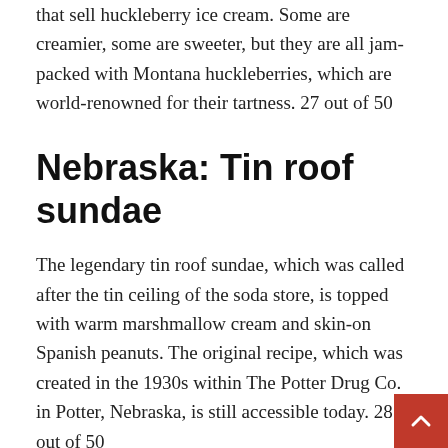that sell huckleberry ice cream. Some are creamier, some are sweeter, but they are all jam-packed with Montana huckleberries, which are world-renowned for their tartness. 27 out of 50
Nebraska: Tin roof sundae
The legendary tin roof sundae, which was called after the tin ceiling of the soda store, is topped with warm marshmallow cream and skin-on Spanish peanuts. The original recipe, which was created in the 1930s within The Potter Drug Co. in Potter, Nebraska, is still accessible today. 28 out of 50